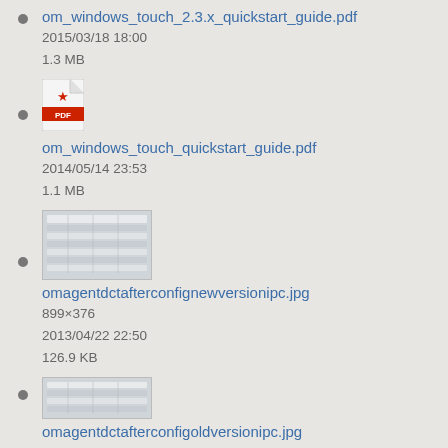om_windows_touch_2.3.x_quickstart_guide.pdf
2015/03/18 18:00
1.3 MB
om_windows_touch_quickstart_guide.pdf
2014/05/14 23:53
1.1 MB
omagentdctafterconfignewversionipc.jpg
899×376
2013/04/22 22:50
126.9 KB
omagentdctafterconfigoldversionipc.jpg
1087×221
2013/04/22 22:33
93.5 KB